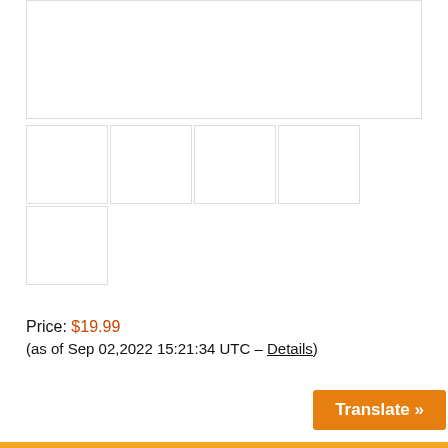[Figure (photo): Main product image placeholder - large white box with light gray border]
[Figure (photo): Thumbnail images row 1 - four white placeholder boxes with light gray borders]
[Figure (photo): Thumbnail images row 2 - one white placeholder box with light gray border]
Price: $19.99
(as of Sep 02,2022 15:21:34 UTC – Details)
Translate »